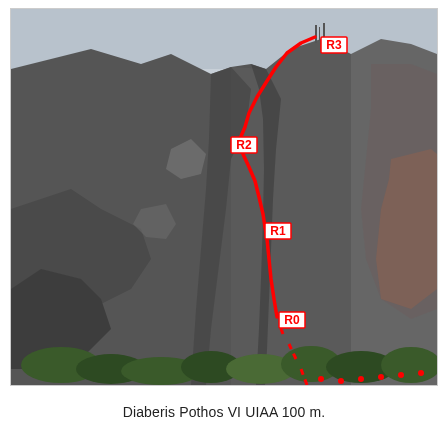[Figure (photo): Photograph of a rocky mountain face showing a climbing route marked with a red line connecting waypoints labeled R0 (lower), R1 (middle), R2 (upper-middle), and R3 (near the summit). The route goes from a dashed red line at the base (approach) to a solid red line up the rock face to the top. Red labels in white boxes mark each rest/belay station.]
Diaberis Pothos VI UIAA 100 m.